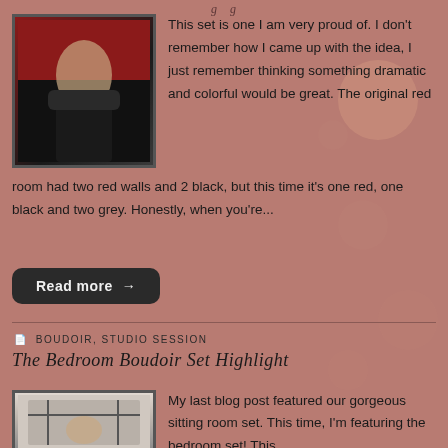[Figure (photo): Woman in black leather jacket against red background, boudoir studio photo]
This set is one I am very proud of. I don't remember how I came up with the idea, I just remember thinking something dramatic and colorful would be great. The original red room had two red walls and 2 black, but this time it's one red, one black and two grey. Honestly, when you're...
Read more →
BOUDOIR, STUDIO SESSION
The Bedroom Boudoir Set Highlight
[Figure (photo): Woman posing on a bed with black iron headboard, boudoir bedroom set photo]
My last blog post featured our gorgeous sitting room set. This time, I'm featuring the bedroom set! This